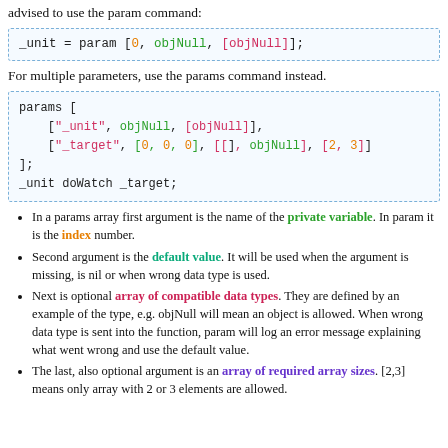advised to use the param command:
For multiple parameters, use the params command instead.
In a params array first argument is the name of the private variable. In param it is the index number.
Second argument is the default value. It will be used when the argument is missing, is nil or when wrong data type is used.
Next is optional array of compatible data types. They are defined by an example of the type, e.g. objNull will mean an object is allowed. When wrong data type is sent into the function, param will log an error message explaining what went wrong and use the default value.
The last, also optional argument is an array of required array sizes. [2,3] means only array with 2 or 3 elements are allowed.